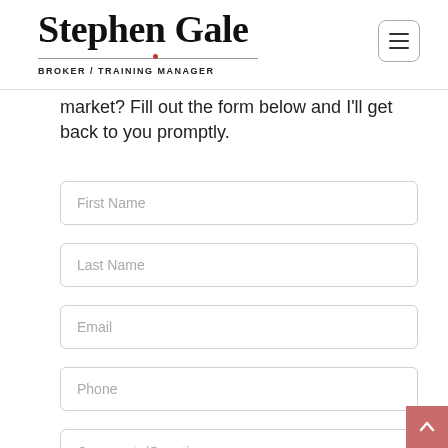Stephen Gale — BROKER / TRAINING MANAGER
market? Fill out the form below and I'll get back to you promptly.
First Name
Last Name
Email
Phone
Comments/Questions